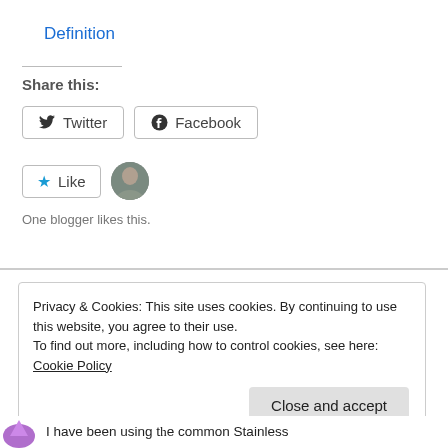Definition
Share this:
Twitter  Facebook
Like
One blogger likes this.
Privacy & Cookies: This site uses cookies. By continuing to use this website, you agree to their use.
To find out more, including how to control cookies, see here: Cookie Policy
Close and accept
I have been using the common Stainless